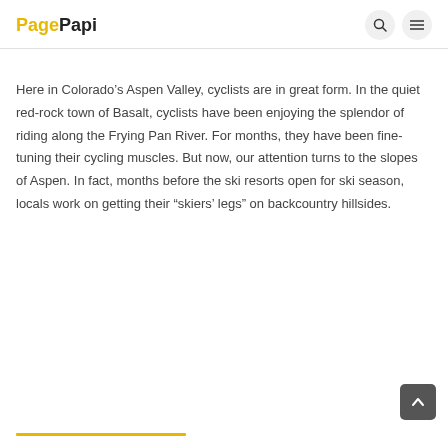PagePapi
Here in Colorado’s Aspen Valley, cyclists are in great form. In the quiet red-rock town of Basalt, cyclists have been enjoying the splendor of riding along the Frying Pan River. For months, they have been fine-tuning their cycling muscles. But now, our attention turns to the slopes of Aspen. In fact, months before the ski resorts open for ski season, locals work on getting their “skiers’ legs” on backcountry hillsides.